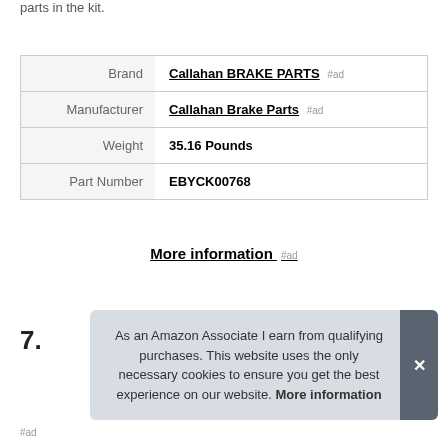parts in the kit.
| Brand | Callahan BRAKE PARTS #ad |
| Manufacturer | Callahan Brake Parts #ad |
| Weight | 35.16 Pounds |
| Part Number | EBYCK00768 |
More information #ad
7.
As an Amazon Associate I earn from qualifying purchases. This website uses the only necessary cookies to ensure you get the best experience on our website. More information
#ad